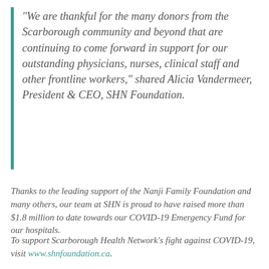“We are thankful for the many donors from the Scarborough community and beyond that are continuing to come forward in support for our outstanding physicians, nurses, clinical staff and other frontline workers,” shared Alicia Vandermeer, President & CEO, SHN Foundation.
Thanks to the leading support of the Nanji Family Foundation and many others, our team at SHN is proud to have raised more than $1.8 million to date towards our COVID-19 Emergency Fund for our hospitals.
To support Scarborough Health Network’s fight against COVID-19, visit www.shnfoundation.ca.